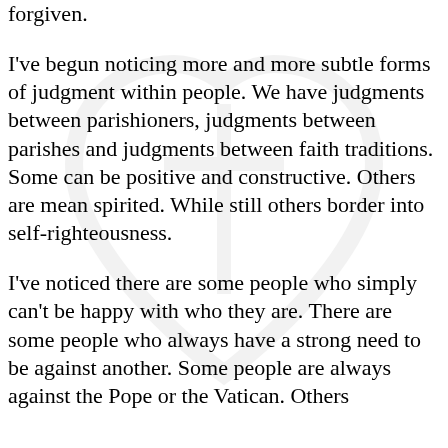forgiven.
I've begun noticing more and more subtle forms of judgment within people. We have judgments between parishioners, judgments between parishes and judgments between faith traditions. Some can be positive and constructive.  Others are mean spirited. While still others border into self-righteousness.
I've noticed there are some people who simply can't be happy with who they are.  There are some people who always have a strong need to be against another.  Some people are always against the Pope or the Vatican.  Others